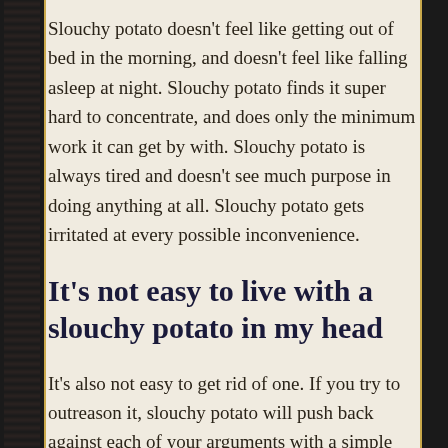Slouchy potato doesn't feel like getting out of bed in the morning, and doesn't feel like falling asleep at night. Slouchy potato finds it super hard to concentrate, and does only the minimum work it can get by with. Slouchy potato is always tired and doesn't see much purpose in doing anything at all. Slouchy potato gets irritated at every possible inconvenience.
It's not easy to live with a slouchy potato in my head
It's also not easy to get rid of one. If you try to outreason it, slouchy potato will push back against each of your arguments with a simple 'But why?'.